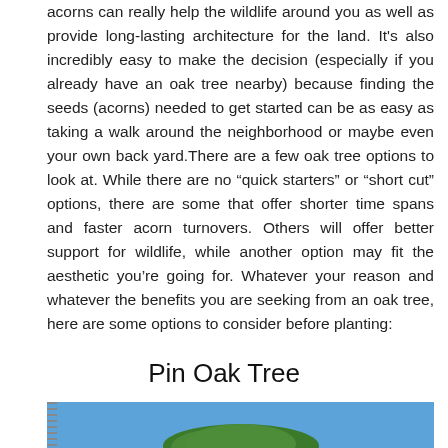acorns can really help the wildlife around you as well as provide long-lasting architecture for the land. It's also incredibly easy to make the decision (especially if you already have an oak tree nearby) because finding the seeds (acorns) needed to get started can be as easy as taking a walk around the neighborhood or maybe even your own back yard.There are a few oak tree options to look at. While there are no “quick starters” or “short cut” options, there are some that offer shorter time spans and faster acorn turnovers. Others will offer better support for wildlife, while another option may fit the aesthetic you’re going for. Whatever your reason and whatever the benefits you are seeking from an oak tree, here are some options to consider before planting:
Pin Oak Tree
[Figure (photo): A photo of a Pin Oak Tree with green foliage against a blue sky, partially visible at the bottom of the page.]